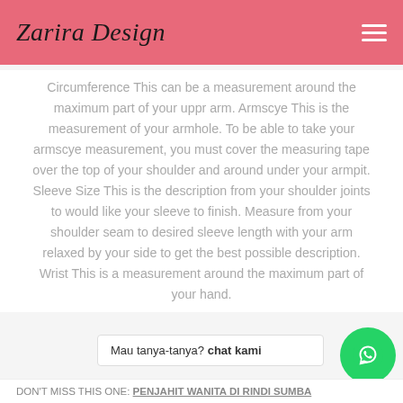Zarira Design
Circumference This can be a measurement around the maximum part of your uppr arm. Armscye This is the measurement of your armhole. To be able to take your armscye measurement, you must cover the measuring tape over the top of your shoulder and around under your armpit. Sleeve Size This is the description from your shoulder joints to would like your sleeve to finish. Measure from your shoulder seam to desired sleeve length with your arm relaxed by your side to get the best possible description. Wrist This is a measurement around the maximum part of your hand.
Mau tanya-tanya? chat kami
DON'T MISS THIS ONE: PENJAHIT WANITA DI RINDI SUMBA